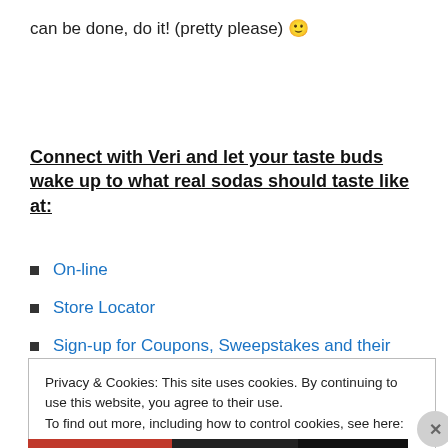can be done, do it! (pretty please) 🙂
Connect with Veri and let your taste buds wake up to what real sodas should taste like at:
On-line
Store Locator
Sign-up for Coupons, Sweepstakes and their
Privacy & Cookies: This site uses cookies. By continuing to use this website, you agree to their use. To find out more, including how to control cookies, see here: Cookie Policy